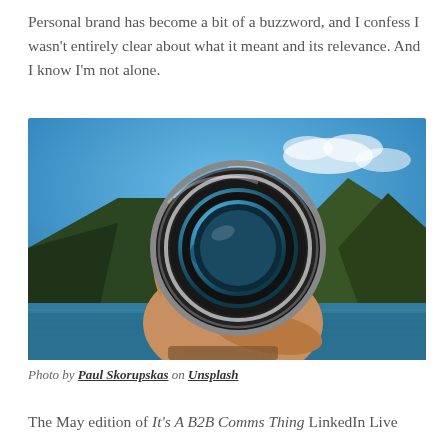Personal brand has become a bit of a buzzword, and I confess I wasn't entirely clear about what it meant and its relevance. And I know I'm not alone.
[Figure (photo): A hand holding a camera lens up against a blurred mountain lake landscape, with the lens showing a clear focused reflection of the scenery through the glass.]
Photo by Paul Skorupskas on Unsplash
The May edition of It's A B2B Comms Thing LinkedIn Live